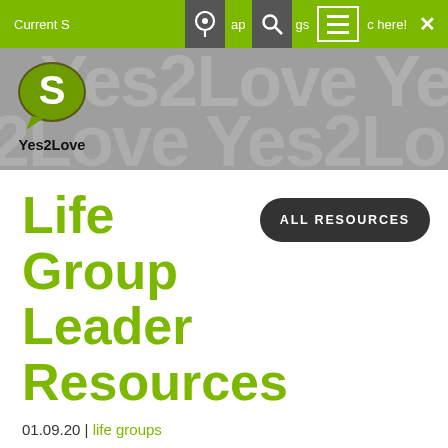Current S ap gs c here!
[Figure (logo): Yes2Love logo — stylized S in a speech bubble with Yes2Love text below, on a gray banner background with Yes2Love watermark text]
Life Group Leader Resources
ALL RESOURCES
01.09.20 | life groups
As a life group leader we want to support and